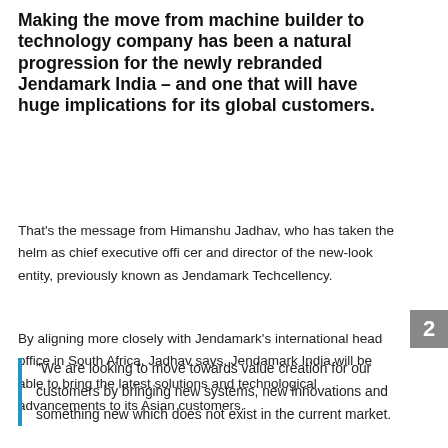Making the move from machine builder to technology company has been a natural progression for the newly rebranded Jendamark India – and one that will have huge implications for its global customers.
That's the message from Himanshu Jadhav, who has taken the helm as chief executive officer and director of the new-look entity, previously known as Jendamark Techcellency.
By aligning more closely with Jendamark's international head office in South Africa, Jadhav says, Jendamark India will be able to bring the latest solutions and technological advancements to its Asian customers.
“We are looking to move towards value creation for our customers by bringing new systems, new innovations and something new which does not exist in the current market.